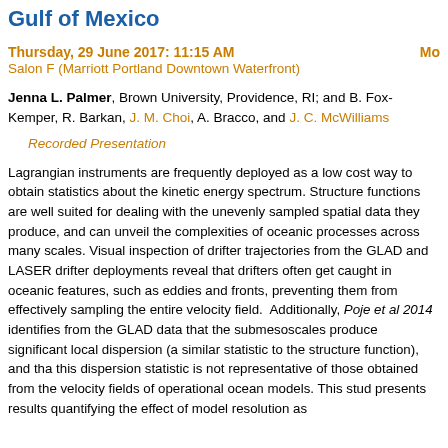Gulf of Mexico
Thursday, 29 June 2017: 11:15 AM    Mo
Salon F (Marriott Portland Downtown Waterfront)
Jenna L. Palmer, Brown University, Providence, RI; and B. Fox-Kemper, R. Barkan, J. M. Choi, A. Bracco, and J. C. McWilliams
Recorded Presentation
Lagrangian instruments are frequently deployed as a low cost way to obtain statistics about the kinetic energy spectrum. Structure functions are well suited for dealing with the unevenly sampled spatial data they produce, and can unveil the complexities of oceanic processes across many scales. Visual inspection of drifter trajectories from the GLAD and LASER drifter deployments reveal that drifters often get caught in oceanic features, such as eddies and fronts, preventing them from effectively sampling the entire velocity field.  Additionally, Poje et al 2014 identifies from the GLAD data that the submesoscales produce significant local dispersion (a similar statistic to the structure function), and that this dispersion statistic is not representative of those obtained from the velocity fields of operational ocean models. This study presents results quantifying the effect of model resolution as